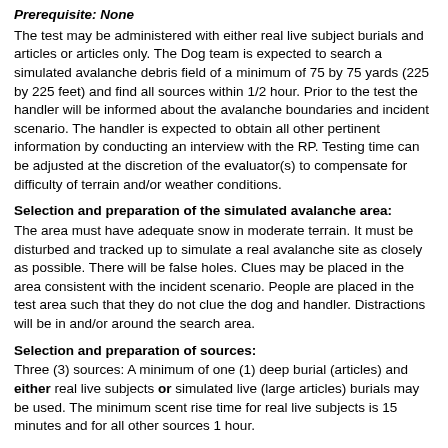Prerequisite: None
The test may be administered with either real live subject burials and articles or articles only. The Dog team is expected to search a simulated avalanche debris field of a minimum of 75 by 75 yards (225 by 225 feet) and find all sources within 1/2 hour. Prior to the test the handler will be informed about the avalanche boundaries and incident scenario. The handler is expected to obtain all other pertinent information by conducting an interview with the RP. Testing time can be adjusted at the discretion of the evaluator(s) to compensate for difficulty of terrain and/or weather conditions.
Selection and preparation of the simulated avalanche area:
The area must have adequate snow in moderate terrain. It must be disturbed and tracked up to simulate a real avalanche site as closely as possible. There will be false holes. Clues may be placed in the area consistent with the incident scenario. People are placed in the test area such that they do not clue the dog and handler. Distractions will be in and/or around the search area.
Selection and preparation of sources:
Three (3) sources: A minimum of one (1) deep burial (articles) and either real live subjects or simulated live (large articles) burials may be used. The minimum scent rise time for real live subjects is 15 minutes and for all other sources 1 hour.
Real Live burial:
The subject(s) must be fully buried at a depth of 3-5 feet. Subject(s) must enter the burial site in a manner that makes it difficult for a dog to track to the cave. The following safety rules apply to live burials:
1. Subject must have a working transceiver and radio and both must be